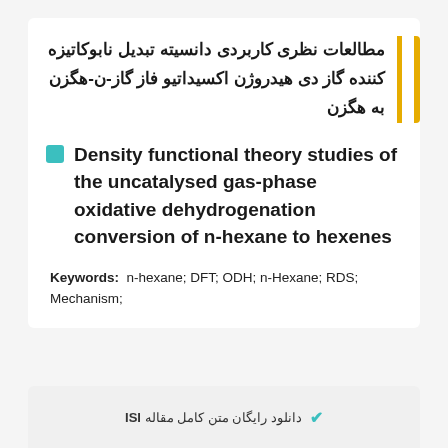مطالعات نظری کاربردی دانسیته تبدیل نابوکاتیزه کننده گاز دی هیدروژن اکسیداتیو فاز گاز-ن-هگزن به هگزن
Density functional theory studies of the uncatalysed gas-phase oxidative dehydrogenation conversion of n-hexane to hexenes
Keywords: n-hexane; DFT; ODH; n-Hexane; RDS; Mechanism;
دانلود رایگان متن کامل مقاله ISI